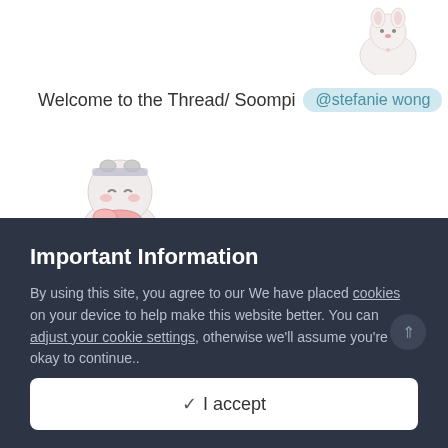[Figure (illustration): Cute cartoon character (round white animal/bunny) at top right of page]
Welcome to the Thread/ Soompi @stefanie wong
[Figure (illustration): Cute cartoon character (round white cat with pink bow/scarf) on the left side]
@BlackLotus1025 @RobinM @realistic2280a @backstreetboysfan @rocher22 @LeftCoastOppa @stefanie wong
Important Information
By using this site, you agree to our We have placed cookies on your device to help make this website better. You can adjust your cookie settings, otherwise we'll assume you're okay to continue..
✓  I accept